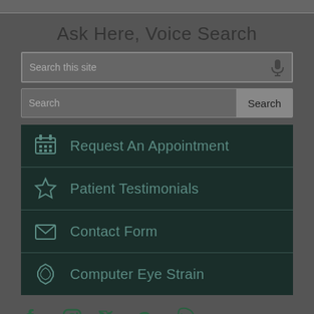Ask Here, Voice Search
[Figure (screenshot): Voice search input field with microphone icon]
[Figure (screenshot): Text search input field with Search button]
Request An Appointment
Patient Testimonials
Contact Form
Computer Eye Strain
[Figure (infographic): Social media icons: Facebook, Instagram, Twitter, Google, Yelp]
Berryessa Optometry